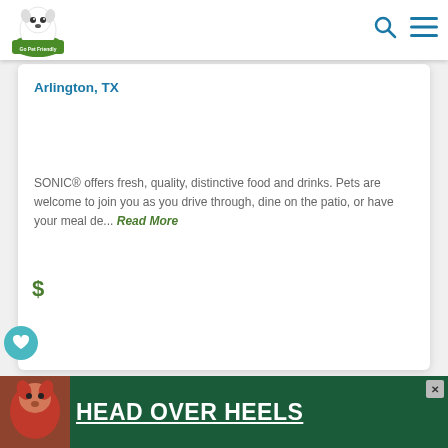[Figure (logo): GoPetFriendly logo — cartoon dog on green background with text 'Go Pet Friendly']
Arlington, TX
SONIC® offers fresh, quality, distinctive food and drinks. Pets are welcome to join you as you drive through, dine on the patio, or have your meal de... Read More
$
1
[Figure (photo): Banner advertisement showing a dog with text HEAD OVER HEELS on dark green background]